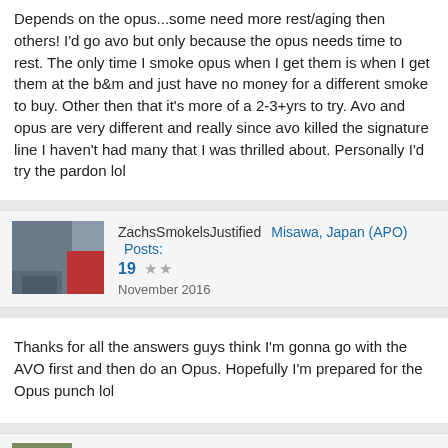Depends on the opus...some need more rest/aging then others! I'd go avo but only because the opus needs time to rest. The only time I smoke opus when I get them is when I get them at the b&m and just have no money for a different smoke to buy. Other then that it's more of a 2-3+yrs to try. Avo and opus are very different and really since avo killed the signature line I haven't had many that I was thrilled about. Personally I'd try the pardon lol
ZachsSmokelsJustified  Misawa, Japan (APO)   Posts: 19  ★★  November 2016
Thanks for all the answers guys think I'm gonna go with the AVO first and then do an Opus. Hopefully I'm prepared for the Opus punch lol